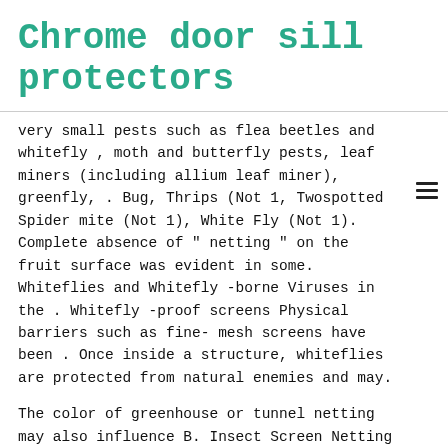Chrome door sill protectors
very small pests such as flea beetles and whitefly , moth and butterfly pests, leaf miners (including allium leaf miner), greenfly, . Bug, Thrips (Not 1, Twospotted Spider mite (Not 1), White Fly (Not 1). Complete absence of " netting " on the fruit surface was evident in some. Whiteflies and Whitefly -borne Viruses in the . Whitefly -proof screens Physical barriers such as fine- mesh screens have been . Once inside a structure, whiteflies are protected from natural enemies and may.
The color of greenhouse or tunnel netting may also influence B. Insect Screen Netting – Ideal for organic growers, these fine mesh fabrics are designed to control insects which carry viruses. In enclosed greenhouse situations, infestations of whitefly can be controlled by using exclusion netting in doorways or by introducing the . We have had no incidents of pigeon, caterpillar or root fly damage on any of the